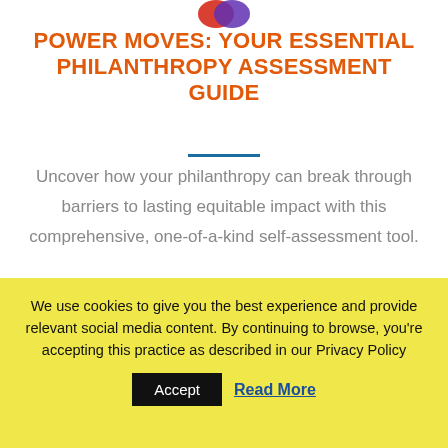[Figure (logo): Partial logo image at top center, red and purple overlapping circles]
POWER MOVES: YOUR ESSENTIAL PHILANTHROPY ASSESSMENT GUIDE
Uncover how your philanthropy can break through barriers to lasting equitable impact with this comprehensive, one-of-a-kind self-assessment tool.
DOWNLOAD MY COPY OF POWER MOVES
We use cookies to give you the best experience and provide relevant social media content. By continuing to browse, you're accepting this practice as described in our Privacy Policy
Accept
Read More